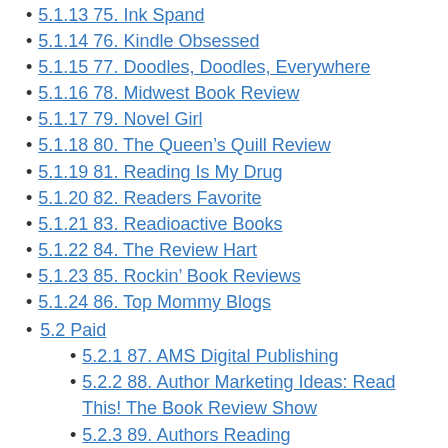5.1.13 75. Ink Spand
5.1.14 76. Kindle Obsessed
5.1.15 77. Doodles, Doodles, Everywhere
5.1.16 78. Midwest Book Review
5.1.17 79. Novel Girl
5.1.18 80. The Queen's Quill Review
5.1.19 81. Reading Is My Drug
5.1.20 82. Readers Favorite
5.1.21 83. Readioactive Books
5.1.22 84. The Review Hart
5.1.23 85. Rockin’ Book Reviews
5.1.24 86. Top Mommy Blogs
5.2 Paid
5.2.1 87. AMS Digital Publishing
5.2.2 88. Author Marketing Ideas: Read This! The Book Review Show
5.2.3 89. Authors Reading
5.2.4 90. Blue Ink Review
5.2.5 91. Book Roaster